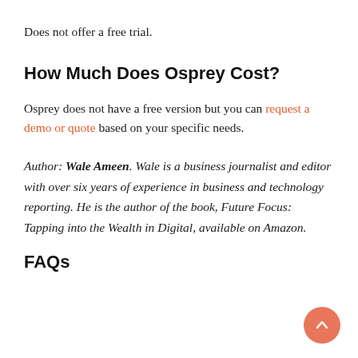Does not offer a free trial.
How Much Does Osprey Cost?
Osprey does not have a free version but you can request a demo or quote based on your specific needs.
Author: Wale Ameen. Wale is a business journalist and editor with over six years of experience in business and technology reporting. He is the author of the book, Future Focus: Tapping into the Wealth in Digital, available on Amazon.
FAQs